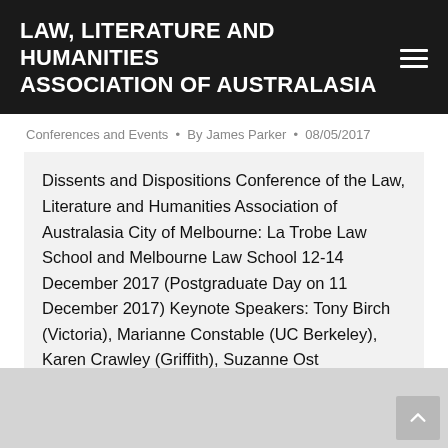LAW, LITERATURE AND HUMANITIES ASSOCIATION OF AUSTRALASIA
Conferences and Events • By James Parker • 08/05/2017
Dissents and Dispositions Conference of the Law, Literature and Humanities Association of Australasia City of Melbourne: La Trobe Law School and Melbourne Law School 12-14 December 2017 (Postgraduate Day on 11 December 2017) Keynote Speakers: Tony Birch (Victoria), Marianne Constable (UC Berkeley), Karen Crawley (Griffith), Suzanne Ost (Lancaster), Nikos Papastergiadis (Melbourne) Tom Nicholson, â€˜Towards a…